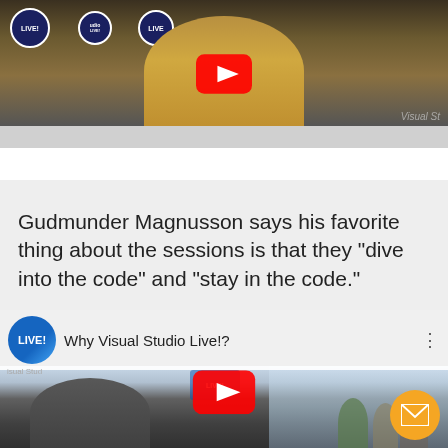[Figure (screenshot): YouTube video thumbnail showing a man in a gold/tan jacket at a 'LIVE!' branded event backdrop, with a red YouTube play button overlay. Shows partial 'Visual St' watermark at bottom right.]
Gudmunder Magnusson says his favorite thing about the sessions is that they "dive into the code" and "stay in the code."
[Figure (screenshot): YouTube video embed for 'Why Visual Studio Live!?' with 'LIVE!' channel badge on the left, title text, three-dot menu, and a red play button over a video frame showing a man in a conference hallway setting. An orange circular mail button appears in the bottom right corner.]